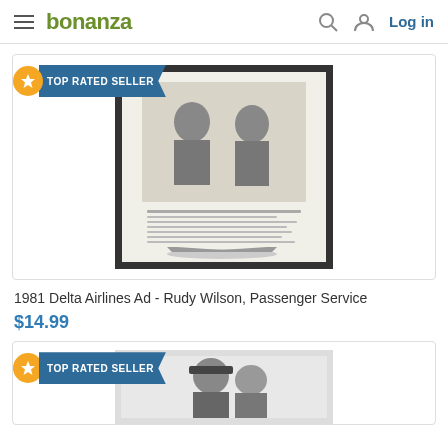bonanza — Log in
[Figure (screenshot): Product listing image: 1981 Delta Airlines Ad showing two men in suits, framed black and white advertisement with airplane at bottom]
1981 Delta Airlines Ad - Rudy Wilson, Passenger Service
$14.99
[Figure (photo): Second product listing image partially visible, shows person in uniform cap, black and white photo]